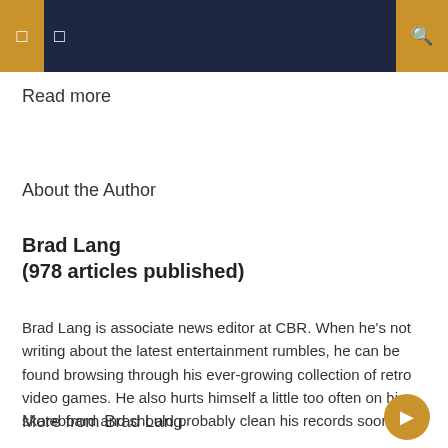Navigation bar with icons
Read more
About the Author
Brad Lang
(978 articles published)
Brad Lang is associate news editor at CBR. When he’s not writing about the latest entertainment rumbles, he can be found browsing through his ever-growing collection of retro video games. He also hurts himself a little too often on his skateboard and should probably clean his records soon…
More from Brad Lang